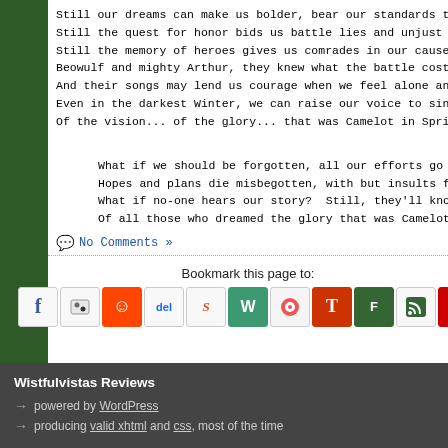Still our dreams can make us bolder, bear our standards through the f
Still the quest for honor bids us battle lies and unjust laws;
Still the memory of heroes gives us comrades in our cause --
Beowulf and mighty Arthur, they knew what the battle cost,
And their songs may lend us courage when we feel alone and lost.
Even in the darkest Winter, we can raise our voice to sing
Of the vision... of the glory... that was Camelot in Spring.
What if we should be forgotten, all our efforts go in vain,
Hopes and plans die misbegotten, with but insults for our pain?
What if no-one hears our story?  Still, they'll know us when the
Of all those who dreamed the glory that was Camelot in Spring.
No Comments »
Bookmark this page to:
[Figure (infographic): Row of social bookmark icons: Facebook, Furl, Reddit, Del.icio.us, StumbleUpon, Wists, Newsvine, Technorati, Fark, Feed, Netscape]
Wistfulvistas Reviews
powered by WordPress
producing valid xhtml and css, most of the time